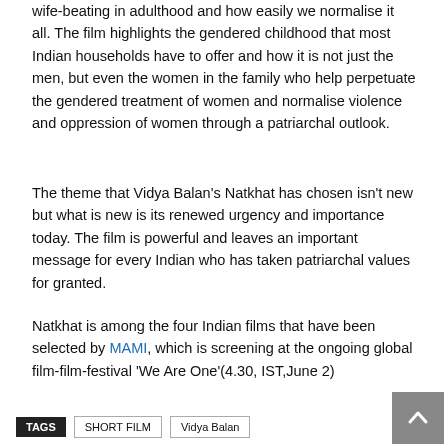wife-beating in adulthood and how easily we normalise it all. The film highlights the gendered childhood that most Indian households have to offer and how it is not just the men, but even the women in the family who help perpetuate the gendered treatment of women and normalise violence and oppression of women through a patriarchal outlook.
The theme that Vidya Balan's Natkhat has chosen isn't new but what is new is its renewed urgency and importance today. The film is powerful and leaves an important message for every Indian who has taken patriarchal values for granted.
Natkhat is among the four Indian films that have been selected by MAMI, which is screening at the ongoing global film-film-festival 'We Are One'(4.30, IST,June 2)
TAGS   SHORT FILM   Vidya Balan